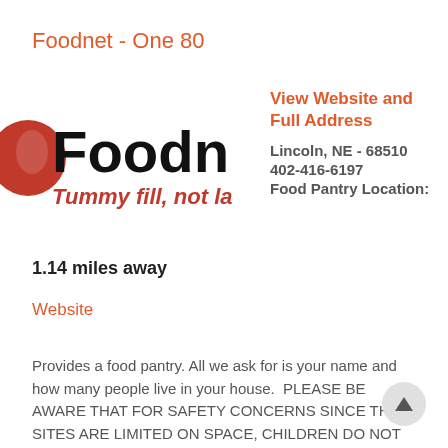Foodnet - One 80
[Figure (logo): Foodnet logo with red circle/apple image on left, bold text 'Foodn' (truncated) and red italic text 'Tummy fill, not la' (truncated)]
View Website and Full Address
Lincoln, NE - 68510
402-416-6197
Food Pantry Location:
1.14 miles away
Website
Provides a food pantry. All we ask for is your name and how many people live in your house.  PLEASE BE AWARE THAT FOR SAFETY CONCERNS SINCE THE SITES ARE LIMITED ON SPACE, CHILDREN DO NOT ENTER THE DISTRIBUTION SITE. HANDICAPPED ACCESSIBLE. DISTRIBUTION SITES: Last update fo